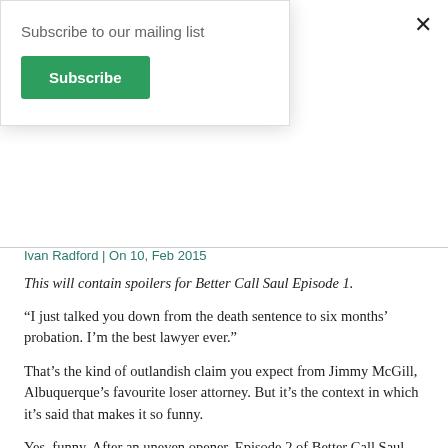Subscribe to our mailing list
Subscribe
×
Ivan Radford | On 10, Feb 2015
This will contain spoilers for Better Call Saul Episode 1.
“I just talked you down from the death sentence to six months’ probation. I’m the best lawyer ever.”
That’s the kind of outlandish claim you expect from Jimmy McGill, Albuquerque’s favourite loser attorney. But it’s the context in which it’s said that makes it so funny.
Yes, funny. After an uneven opener, Episode 2 of Better Call Saul hits it comic stride in style – no wonder AMC wanted to premiere the first pair two days in a row. This second outing is a belter.